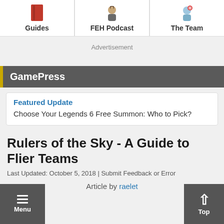[Figure (other): Navigation bar with three items: Guides (red book icon), FEH Podcast (anime character icon), The Team (anime character icon)]
Advertisement
GamePress
Featured Update
Choose Your Legends 6 Free Summon: Who to Pick?
Rulers of the Sky - A Guide to Flier Teams
Last Updated: October 5, 2018 | Submit Feedback or Error
Article by raelet